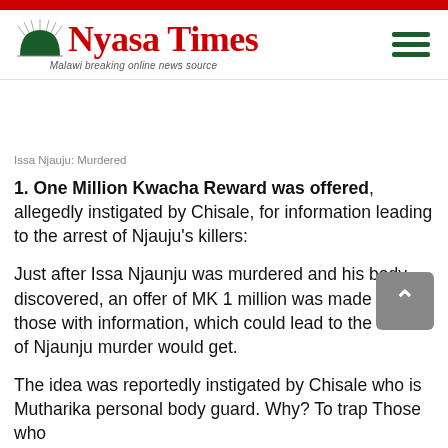Nyasa Times — Malawi breaking online news source
Issa Njauju: Murdered
1. One Million Kwacha Reward was offered, allegedly instigated by Chisale, for information leading to the arrest of Njauju's killers:
Just after Issa Njaunju was murdered and his body discovered, an offer of MK 1 million was made that those with information, which could lead to the arrest of Njaunju murder would get.
The idea was reportedly instigated by Chisale who is Mutharika personal body guard. Why? To trap Those who